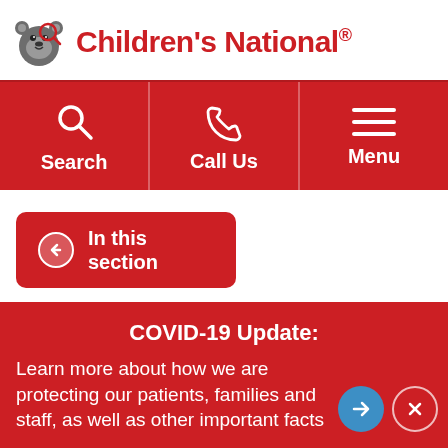[Figure (logo): Children's National hospital logo with bear mascot and red text]
[Figure (infographic): Red navigation bar with Search, Call Us, and Menu icons]
[Figure (infographic): Red button with left arrow - In this section]
[Figure (infographic): Red COVID-19 Update banner with navigation arrows]
We care about your privacy. Read about your rights and how we protect your data. Get Details »
Locations